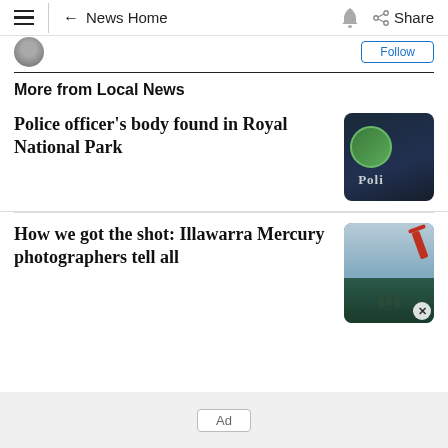← News Home   Share
More from Local News
Police officer's body found in Royal National Park
[Figure (photo): Dark photo showing a NSW Police badge/emblem with text 'Poli' visible]
How we got the shot: Illawarra Mercury photographers tell all
[Figure (photo): Photo of a crane on a waterfront/dock, with a crowd gathered below]
Ad